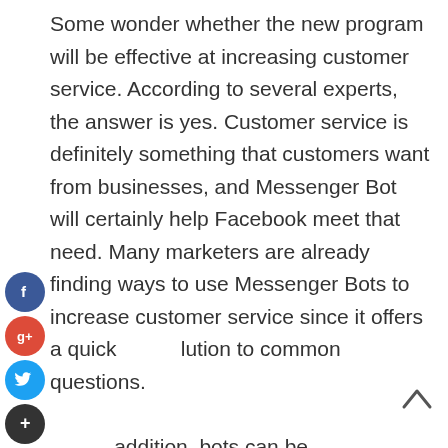Some wonder whether the new program will be effective at increasing customer service. According to several experts, the answer is yes. Customer service is definitely something that customers want from businesses, and Messenger Bot will certainly help Facebook meet that need. Many marketers are already finding ways to use Messenger Bots to increase customer service since it offers a quick solution to common questions.

In addition, bots can be programmed to perform tasks other than sending messages, posting status updates, and performing other typical Facebook functions. For example, some companies have found ways to use chat Bots as customer service representatives. The customer service representative
[Figure (infographic): Social share icons on the left side: Facebook (blue circle with f), Google+ (red circle with g+), Twitter (blue circle with bird), and a dark add/share button (dark circle with +)]